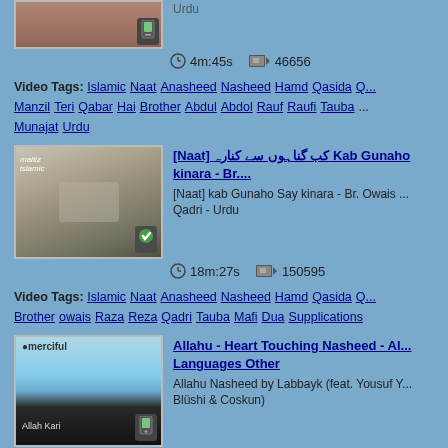[Figure (photo): Thumbnail image of hands, partially visible at top]
4m:45s   46656
Video Tags: Islamic Naat Anasheed Nasheed Hamd Qasida Q... Manzil Teri Qabar Hai Brother Abdul Abdol Rauf Raufi Tauba ... Munajat Urdu
[Figure (photo): Thumbnail of graves/cemetery aerial view]
[Naat] کب گناہوں سے کنارہ Kab Gunaho say kinara - Br....
[Naat] kab Gunaho Say kinara - Br. Owais ... Qadri - Urdu
18m:27s   150595
Video Tags: Islamic Naat Anasheed Nasheed Hamd Qasida Q... Brother owais Raza Reza Qadri Tauba Mafi Dua Supplications
[Figure (photo): Thumbnail of mountain landscape with sky]
Allahu - Heart Touching Nasheed - Al... Languages Other
Allahu Nasheed by Labbayk (feat. Yousuf Y... Blüshi & Coskun)
5m:2s   24961